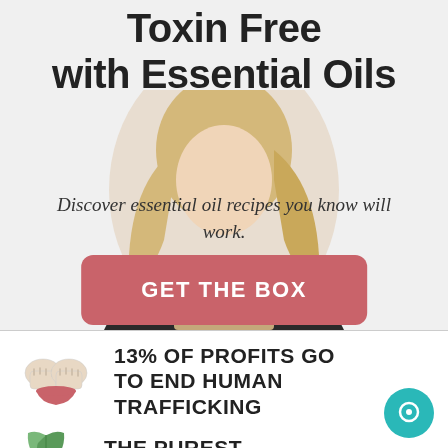Toxin Free with Essential Oils
Discover essential oil recipes you know will work.
[Figure (photo): A blonde woman holding a brown box labeled MONTHLY, shown from shoulders up, serves as a background image behind the headline and button.]
GET THE BOX
[Figure (illustration): Icon of two hands bound together with a red ribbon or rope, symbolizing human trafficking awareness.]
13% OF PROFITS GO TO END HUMAN TRAFFICKING
[Figure (illustration): Green leaf icon at bottom left, partial view.]
THE PUREST